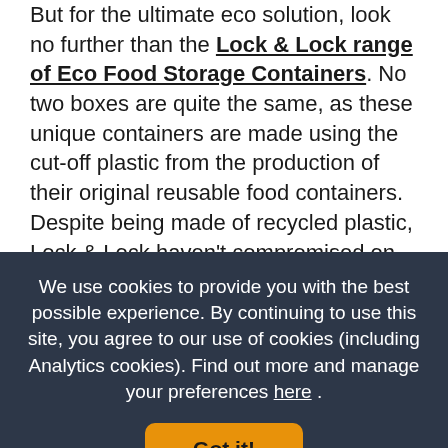But for the ultimate eco solution, look no further than the Lock & Lock range of Eco Food Storage Containers. No two boxes are quite the same, as these unique containers are made using the cut-off plastic from the production of their original reusable food containers. Despite being made of recycled plastic, Lock & Lock haven't compromised on their quality, offering the same 100% airtight, leakproof guarantee as they do for their traditional range.
With our large selection of versatile, functional and environmentally friendly food storage containers on offer,
We use cookies to provide you with the best possible experience. By continuing to use this site, you agree to our use of cookies (including Analytics cookies). Find out more and manage your preferences here .
Got it!